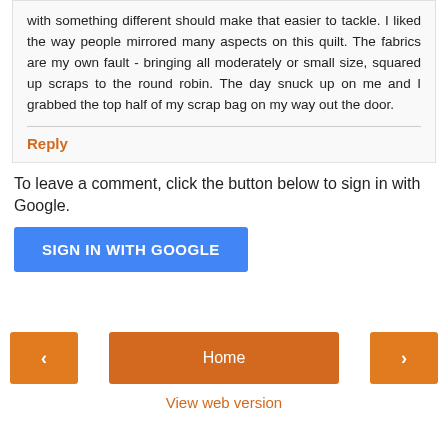with something different should make that easier to tackle. I liked the way people mirrored many aspects on this quilt. The fabrics are my own fault - bringing all moderately or small size, squared up scraps to the round robin. The day snuck up on me and I grabbed the top half of my scrap bag on my way out the door.
Reply
To leave a comment, click the button below to sign in with Google.
SIGN IN WITH GOOGLE
Home
View web version